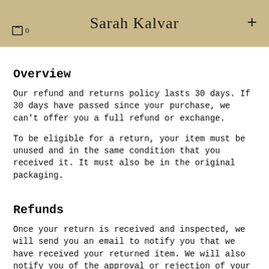Sarah Kalvar
Overview
Our refund and returns policy lasts 30 days. If 30 days have passed since your purchase, we can't offer you a full refund or exchange.
To be eligible for a return, your item must be unused and in the same condition that you received it. It must also be in the original packaging.
Refunds
Once your return is received and inspected, we will send you an email to notify you that we have received your returned item. We will also notify you of the approval or rejection of your refund.
If you are approved, then your refund will be processed, and a credit will automatically be applied to your credit